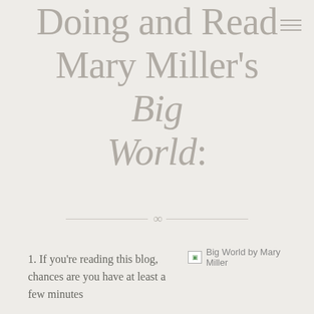Doing and Read Mary Miller's Big World:
1. If you're reading this blog, chances are you have at least a few minutes
[Figure (photo): Broken image placeholder labeled 'Big World by Mary Miller']